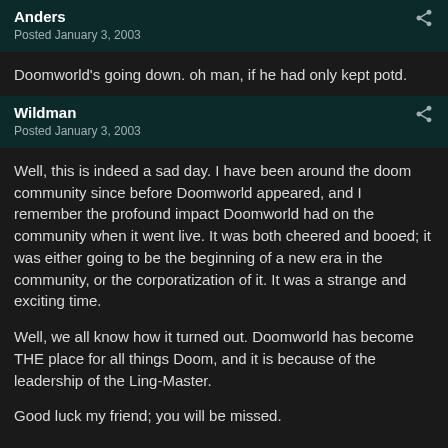Anders — Posted January 3, 2003
Doomworld's going down. oh man, if he had only kept potd.
Wildman — Posted January 3, 2003
Well, this is indeed a sad day. I have been around the doom community since before Doomworld appeared, and I remember the profound impact Doomworld had on the community when it went live. It was both cheered and booed; it was either going to be the beginning of a new era in the community, or the corporatization of it. It was a strange and exciting time.
Well, we all know how it turned out. Doomworld has become THE place for all things Doom, and it is because of the leadership of the Ling-Master.
Good luck my friend; you will be missed.